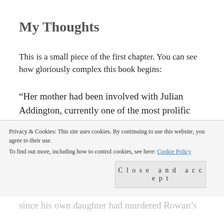My Thoughts
This is a small piece of the first chapter. You can see how gloriously complex this book begins:
“Her mother had been involved with Julian Addington, currently one of the most prolific serial killers in documented history. The depth of her involvement was unknown. If Anna
Privacy & Cookies: This site uses cookies. By continuing to use this website, you agree to their use.
To find out more, including how to control cookies, see here: Cookie Policy
Close and accept
since his own daughter had murdered Rowan’s